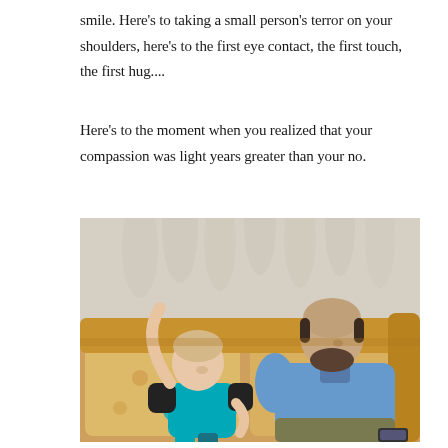smile. Here's to taking a small person's terror on your shoulders, here's to the first eye contact, the first touch, the first hug....
Here's to the moment when you realized that your compassion was light years greater than your no.
[Figure (photo): A child in a teal and black shirt sits on a floral sofa next to a bearded bald man in a blue button-up shirt, both looking downward.]